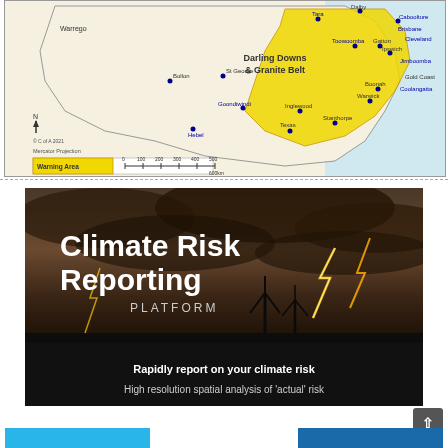[Figure (map): Map of Queensland Australia showing Darling Downs & Granite Belt warning area highlighted in yellow, with city labels including Warrego, Dalby, Tara, Toowoomba, Gatton, Ipswich, Caboolture, Brisbane, Cleveland, Jimboomba, Gold Coast, Coolangatta, Boonah, Warwick, Stanthorpe, Inglewood, Texas, Goondiwindi, Hebel, St George, Bollon. Includes north arrow, copyright C of A 2021, Mercator Projection label, warning area legend box, and scale bar 0-600km.]
[Figure (infographic): Climate Risk Reporting Platform advertisement banner. Dark stormy sky background with lightning strikes and wind turbine silhouettes. Title reads 'Climate Risk Reporting PLATFORM'. Subtext: 'Rapidly report on your climate risk' and 'High resolution spatial analysis of actual risk'.]